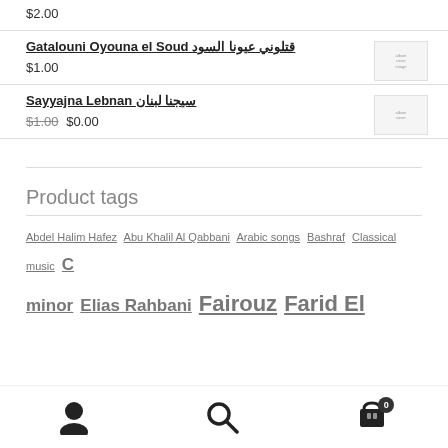$2.00
Gatalouni Oyouna el Soud قتلوني عيونا السود — $1.00
Sayyajna Lebnan سيجنا لبنان — $1.00 $0.00
Product tags
Abdel Halim Hafez Abu Khalil Al Qabbani Arabic songs Bashraf Classical music C minor Elias Rahbani Fairouz Farid El